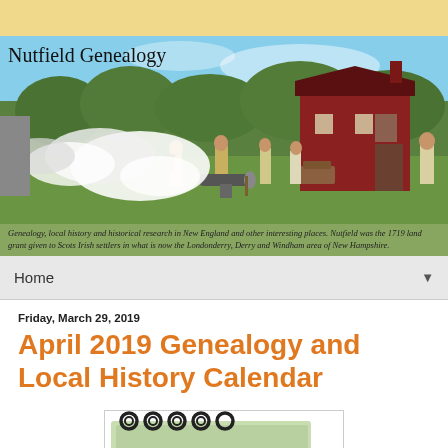Nutfield Genealogy
[Figure (photo): Outdoor historical reenactment scene with people in colonial-era costumes, cannon smoke, red barn, and green trees in background. Site header photo for Nutfield Genealogy blog.]
Genealogy, local history and historical research in New England and other interesting places. Nutfield was the 1719 land grant given to Scots Irish settlers in what is now the Londonderry, Derry and Windham area of New Hampshire.
Home
Friday, March 29, 2019
April 2019 Genealogy and Local History Calendar
[Figure (illustration): Partial view of a calendar illustration with spiral binding and green pages, cropped at bottom of page.]